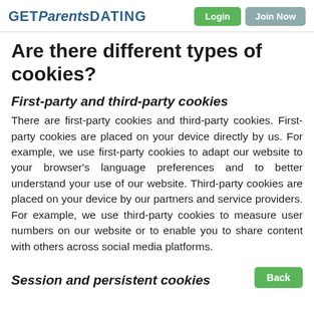GET Parents DATING | Login | Join Now
Are there different types of cookies?
First-party and third-party cookies
There are first-party cookies and third-party cookies. First-party cookies are placed on your device directly by us. For example, we use first-party cookies to adapt our website to your browser's language preferences and to better understand your use of our website. Third-party cookies are placed on your device by our partners and service providers. For example, we use third-party cookies to measure user numbers on our website or to enable you to share content with others across social media platforms.
Session and persistent cookies